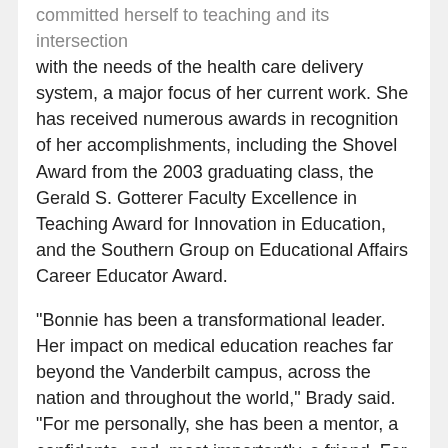committed herself to teaching and its intersection with the needs of the health care delivery system, a major focus of her current work. She has received numerous awards in recognition of her accomplishments, including the Shovel Award from the 2003 graduating class, the Gerald S. Gotterer Faculty Excellence in Teaching Award for Innovation in Education, and the Southern Group on Educational Affairs Career Educator Award.
"Bonnie has been a transformational leader. Her impact on medical education reaches far beyond the Vanderbilt campus, across the nation and throughout the world," Brady said. "For me personally, she has been a mentor, a confidante, and, most importantly, a friend. For 10 years, we have met weekly for breakfast to update each other and to grow together in our respective roles. I forever will be in her debt."
Brady, who is also professor of Medicine and